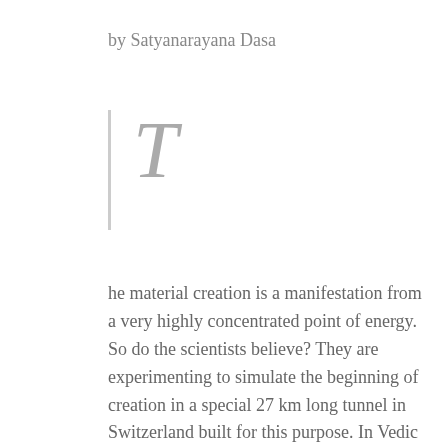by Satyanarayana Dasa
T
he material creation is a manifestation from a very highly concentrated point of energy. So do the scientists believe? They are experimenting to simulate the beginning of creation in a special 27 km long tunnel in Switzerland built for this purpose. In Vedic literature the highly dense energy point is called prakriti. The word prakriti means great product or great action. It can also be translated as the great flow. Prakriti is a great